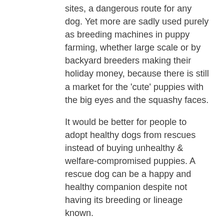sites, a dangerous route for any dog. Yet more are sadly used purely as breeding machines in puppy farming, whether large scale or by backyard breeders making their holiday money, because there is still a market for the 'cute' puppies with the big eyes and the squashy faces.
It would be better for people to adopt healthy dogs from rescues instead of buying unhealthy & welfare-compromised puppies. A rescue dog can be a happy and healthy companion despite not having its breeding or lineage known.
Like
Reply